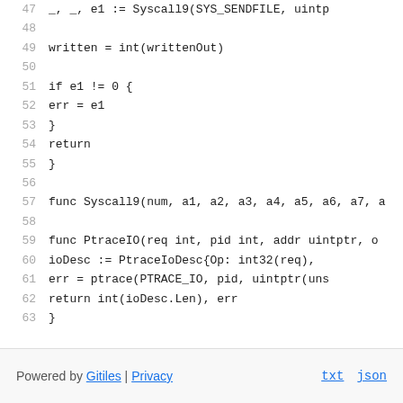Code listing lines 47-63: Go source code showing Syscall9, PtraceIO functions
Powered by Gitiles | Privacy    txt  json